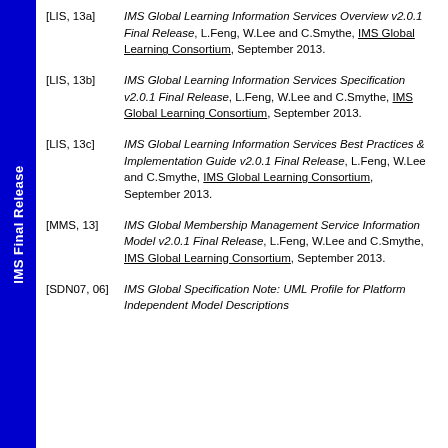IMS Final Release
[LIS, 13a]   IMS Global Learning Information Services Overview v2.0.1 Final Release, L.Feng, W.Lee and C.Smythe, IMS Global Learning Consortium, September 2013.
[LIS, 13b]   IMS Global Learning Information Services Specification v2.0.1 Final Release, L.Feng, W.Lee and C.Smythe, IMS Global Learning Consortium, September 2013.
[LIS, 13c]   IMS Global Learning Information Services Best Practices & Implementation Guide v2.0.1 Final Release, L.Feng, W.Lee and C.Smythe, IMS Global Learning Consortium, September 2013.
[MMS, 13]   IMS Global Membership Management Service Information Model v2.0.1 Final Release, L.Feng, W.Lee and C.Smythe, IMS Global Learning Consortium, September 2013.
[SDN07, 06]   IMS Global Specification Note: UML Profile for Platform Independent Model Descriptions